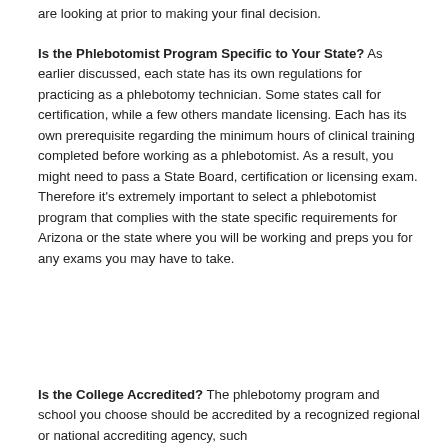are looking at prior to making your final decision.
Is the Phlebotomist Program Specific to Your State? As earlier discussed, each state has its own regulations for practicing as a phlebotomy technician. Some states call for certification, while a few others mandate licensing. Each has its own prerequisite regarding the minimum hours of clinical training completed before working as a phlebotomist. As a result, you might need to pass a State Board, certification or licensing exam. Therefore it's extremely important to select a phlebotomist program that complies with the state specific requirements for Arizona or the state where you will be working and preps you for any exams you may have to take.
Is the College Accredited? The phlebotomy program and school you choose should be accredited by a recognized regional or national accrediting agency, such